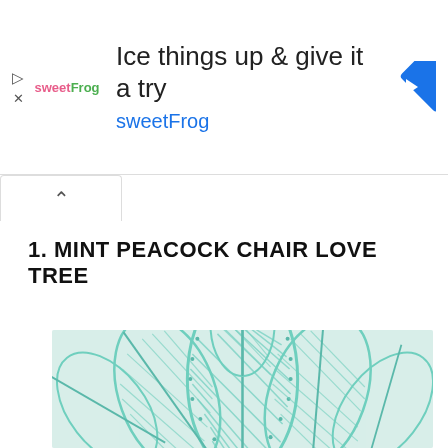[Figure (screenshot): Advertisement banner for sweetFrog frozen yogurt. Shows sweetFrog logo on left, headline 'Ice things up & give it a try', brand name 'sweetFrog' in blue, and a blue diamond-shaped navigation arrow icon on the right. Has play and close icons on far left.]
1. MINT PEACOCK CHAIR LOVE TREE
[Figure (photo): Close-up photo of a mint/teal colored peacock chair back made of woven rattan or cord in leaf/petal patterns, shot against a white background.]